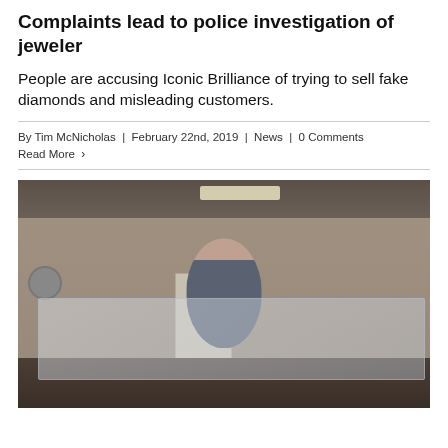Complaints lead to police investigation of jeweler
People are accusing Iconic Brilliance of trying to sell fake diamonds and misleading customers.
By Tim McNicholas | February 22nd, 2019 | News | 0 Comments
Read More >
[Figure (photo): A woman in a grey blazer stands behind a glass jewelry display case inside a jewelry store with taupe walls, a decorative clock on the wall, and a white door in the background.]